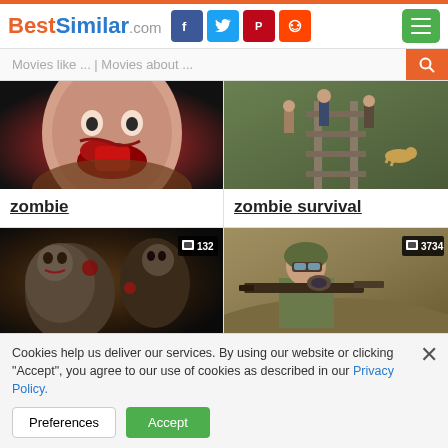BestSimilar.com
Movies like ... | Movies about ...
[Figure (photo): Zombie with bloody face close-up]
zombie
[Figure (photo): Zombie survival scene with people walking on train tracks]
zombie survival
[Figure (photo): Zombie outbreak scene with multiple zombies, badge showing 132]
zombie outbreak
[Figure (photo): Soldier with sniper rifle, badge showing 3734]
soldier
Cookies help us deliver our services. By using our website or clicking "Accept", you agree to our use of cookies as described in our Privacy Policy.